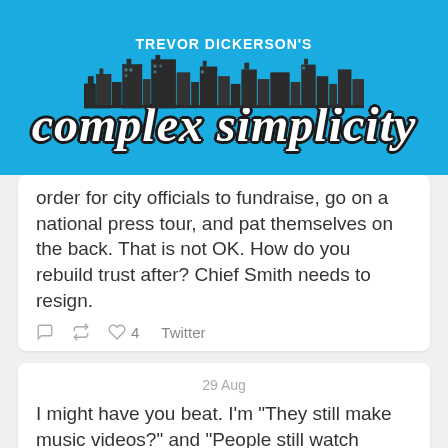[Figure (logo): Trevor Dickerson's Complex Simplicity blog logo with city skyline on teal background]
order for city officials to fundraise, go on a national press tour, and pat themselves on the back. That is not OK. How do you rebuild trust after? Chief Smith needs to resign.
4  Twitter
29 Aug
I might have you beat. I'm "They still make music videos?" and "People still watch awards shows?" years